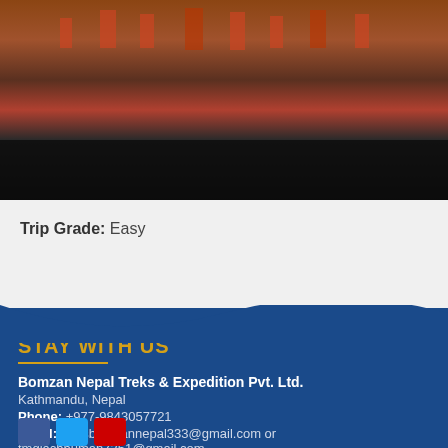[Figure (photo): Hero image of a Buddhist temple or stupa with reflection on water, dark overlay at bottom]
Buddhist pilgrimage tour in Nepal
Trip Grade: Easy
STAY WITH US
Bomzan Nepal Treks & Expedition Pvt. Ltd.
Kathmandu, Nepal
Phone: +977-9843057721
Email: treksbomzannepal333@gmail.com or tmglachhuman7351@gmail.com